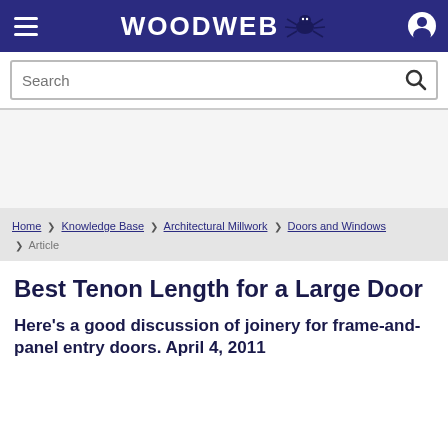WOODWEB
Search
Home › Knowledge Base › Architectural Millwork › Doors and Windows › Article
Best Tenon Length for a Large Door
Here's a good discussion of joinery for frame-and-panel entry doors. April 4, 2011